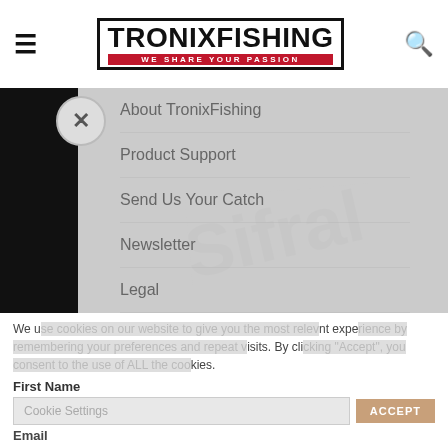≡  TRONIXFISHING WE SHARE YOUR PASSION  🔍
About TronixFishing
Product Support
Send Us Your Catch
Newsletter
Legal
GDPR & Privacy
JOIN TRONIX BITE
Sign up to receive news of our latest product releases, latest articles from our prostaff, exclusive competitions and top tips on sea and lure fishing.
We use cookies on our website to give you the most relevant experience by remembering your preferences and repeat visits. By clicking "Accept", you consent to the use of ALL the cookies.
First Name
Email